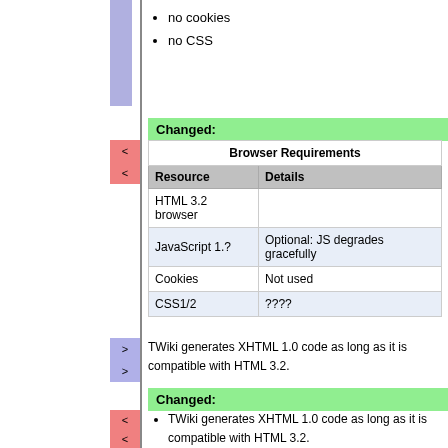no cookies
no CSS
Changed:
| Browser Requirements |  |
| --- | --- |
| Resource | Details |
| HTML 3.2 browser |  |
| JavaScript 1.? | Optional: JS degrades gracefully |
| Cookies | Not used |
| CSS1/2 | ???? |
TWiki generates XHTML 1.0 code as long as it is compatible with HTML 3.2.
Changed:
TWiki generates XHTML 1.0 code as long as it is compatible with HTML 3.2.